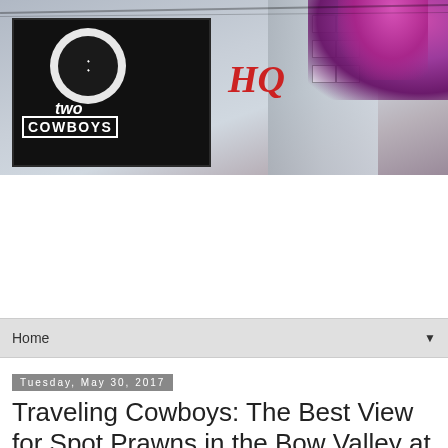[Figure (photo): Outdoor photo showing a 'Two Cowboys' sign on a dark board with a circle logo, a red 'HQ' text, a wooden building with windows, and purple/pink flowers on the right side]
Home ▼
Tuesday, May 30, 2017
Traveling Cowboys: The Best View for Spot Prawns in the Bow Valley at Juniper Bistro, Banff, Alberta
Spot Me a Prawn